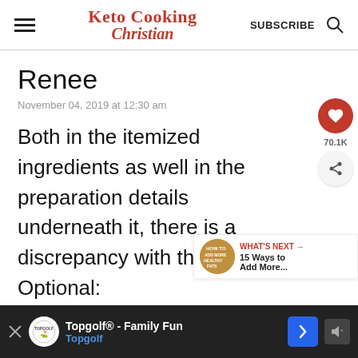Keto Cooking Christian
Renee
November 04, 2019 at 12:30 am
Both in the itemized ingredients as well in the preparation details underneath it, there is a discrepancy with the Optional:
[Figure (other): Social sharing sidebar with heart/like button showing 70.1K and a share button]
[Figure (other): What's Next promo: 15 Ways to Add More... with thumbnail]
[Figure (other): Topgolf advertisement bar at the bottom: Topgolf® - Family Fun Topgolf]